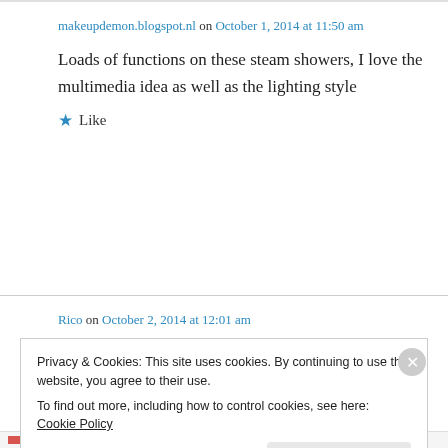makeupdemon.blogspot.nl on October 1, 2014 at 11:50 am
Loads of functions on these steam showers, I love the multimedia idea as well as the lighting style
★ Like
Rico on October 2, 2014 at 12:01 am
Privacy & Cookies: This site uses cookies. By continuing to use this website, you agree to their use. To find out more, including how to control cookies, see here: Cookie Policy
Close and accept